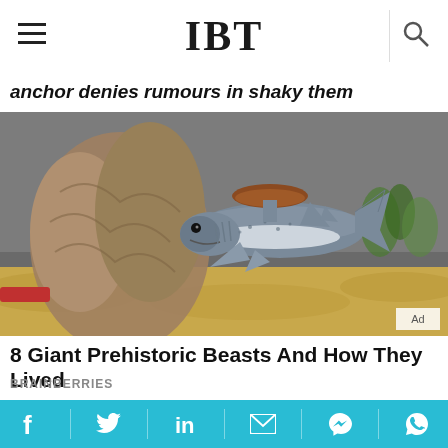IBT
anchor denies rumours in shaky them
[Figure (photo): A toy or model shark figurine displayed in a diorama setting with rocks, sand, and small plants in the background. The shark model has a distinctive hammerhead-like top fin and a flat disc-shaped structure on top. Ad badge visible in bottom-right corner.]
8 Giant Prehistoric Beasts And How They Lived
BRAINBERRIES
[Figure (photo): Partial view of a second article image showing faces and colorful objects, cropped at the bottom of the page.]
Social share bar with icons: Facebook, Twitter, LinkedIn, Email, Messenger, WhatsApp